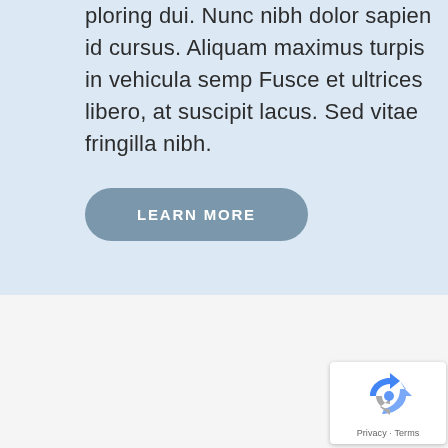ploring dui. Nunc nibh dolor sapien id cursus. Aliquam maximus turpis in vehicula semp Fusce et ultrices libero, at suscipit lacus. Sed vitae fringilla nibh.
LEARN MORE
[Figure (other): reCAPTCHA widget showing spinning arrows logo with 'Privacy - Terms' text below]